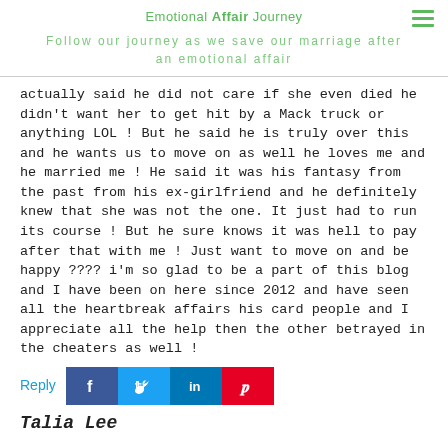Emotional Affair Journey
Follow our journey as we save our marriage after an emotional affair
actually said he did not care if she even died he didn't want her to get hit by a Mack truck or anything LOL ! But he said he is truly over this and he wants us to move on as well he loves me and he married me ! He said it was his fantasy from the past from his ex-girlfriend and he definitely knew that she was not the one. It just had to run its course ! But he sure knows it was hell to pay after that with me ! Just want to move on and be happy ???? i'm so glad to be a part of this blog and I have been on here since 2012 and have seen all the heartbreak affairs his card people and I appreciate all the help then the other betrayed in the cheaters as well !
Reply
[Figure (infographic): Social sharing buttons: Facebook (blue), Twitter (light blue), LinkedIn (blue), Pinterest (red)]